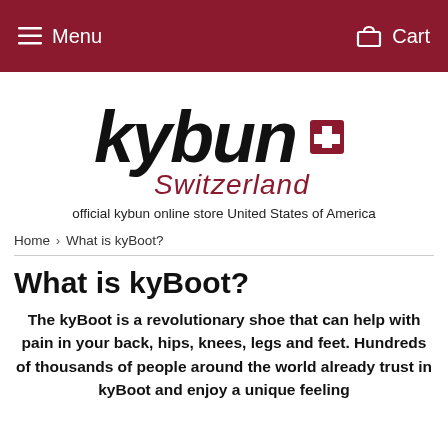Menu   Cart
[Figure (logo): kybun Switzerland logo — black stylized lowercase 'kybun' text with a red Swiss cross, and 'Switzerland' in dark red italic below]
official kybun online store United States of America
Home › What is kyBoot?
What is kyBoot?
The kyBoot is a revolutionary shoe that can help with pain in your back, hips, knees, legs and feet. Hundreds of thousands of people around the world already trust in kyBoot and enjoy a unique feeling